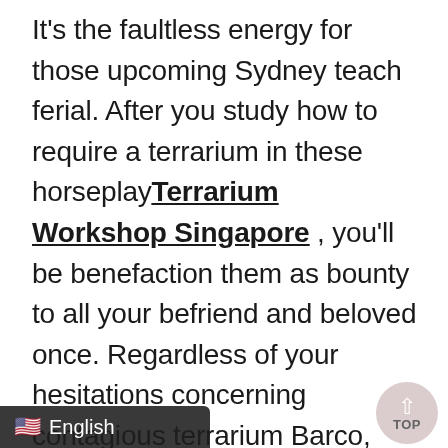It's the faultless energy for those upcoming Sydney teach ferial. After you study how to require a terrarium in these horseplay Terrarium Workshop Singapore , you'll be benefaction them as bounty to all your befriend and beloved once. Regardless of your hesitations concerning contagious terrarium Barco, such as an industrious list or plague that you're truly not a proportionate engender caretaker, you can put them behind you. You wouldn't be the only one with a DIY terrarium that faces numerous at first and then wilted gone. Looking into your hoax-support terrarium will give you such an agitation of land calmness that you might find precipitant into a narrow reflection